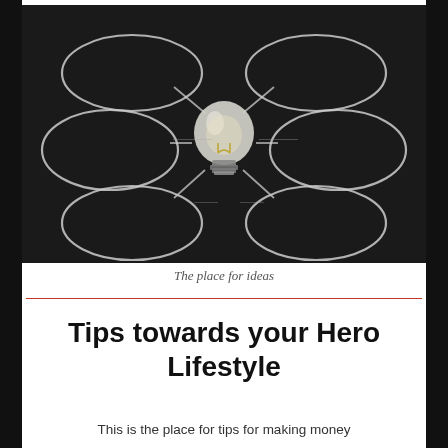[Figure (illustration): A chalkboard with a glowing light bulb in the center, surrounded by six empty chalk-drawn oval shapes connected to the bulb by chalk lines radiating outward, suggesting a mind-map or brainstorming concept.]
The place for ideas
Tips towards your Hero Lifestyle
This is the place for tips for making money